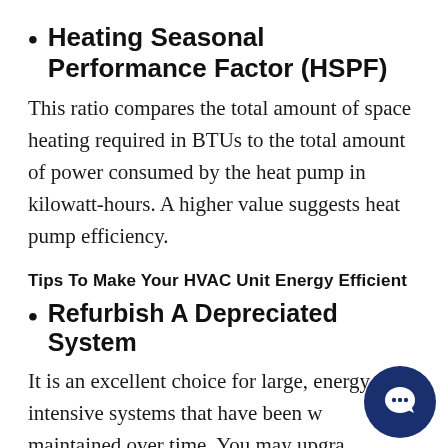Heating Seasonal Performance Factor (HSPF)
This ratio compares the total amount of space heating required in BTUs to the total amount of power consumed by the heat pump in kilowatt-hours. A higher value suggests heat pump efficiency.
Tips To Make Your HVAC Unit Energy Efficient
Refurbish A Depreciated System
It is an excellent choice for large, energy-intensive systems that have been well maintained over time. You may upgrade the system by replacing the...